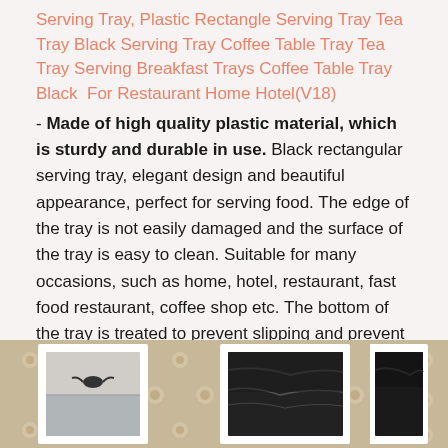Serving Tray, Plastic Rectangle Serving Tray Tea Tray Black Serving Tray Coffee Table Tray Tea Tray Serving Breakfast Trays Coffee Table Tray Black For Restaurant Home Hotel(V18)
- Made of high quality plastic material, which is sturdy and durable in use. Black rectangular serving tray, elegant design and beautiful appearance, perfect for serving food. The edge of the tray is not easily damaged and the surface of the tray is easy to clean. Suitable for many occasions, such as home, hotel, restaurant, fast food restaurant, coffee shop etc. The bottom of the tray is treated to prevent slipping and prevent scratching the tabletop.
[Figure (photo): Product photos showing framed pictures on a decorative wallpaper background, displaying the serving tray in a home setting]